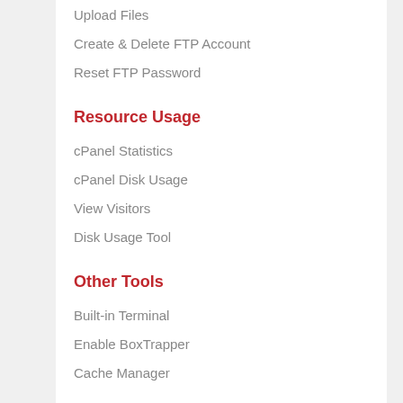Upload Files
Create & Delete FTP Account
Reset FTP Password
Resource Usage
cPanel Statistics
cPanel Disk Usage
View Visitors
Disk Usage Tool
Other Tools
Built-in Terminal
Enable BoxTrapper
Cache Manager